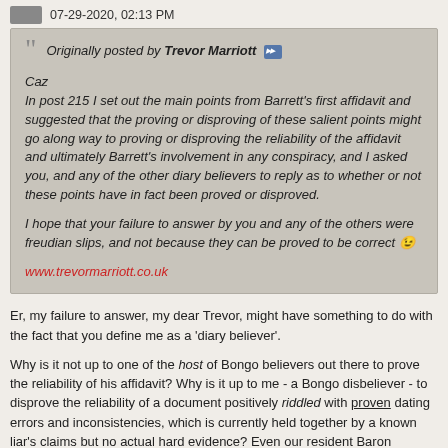07-29-2020, 02:13 PM
Originally posted by Trevor Marriott

Caz
In post 215 I set out the main points from Barrett's first affidavit and suggested that the proving or disproving of these salient points might go along way to proving or disproving the reliability of the affidavit and ultimately Barrett's involvement in any conspiracy, and I asked you, and any of the other diary believers to reply as to whether or not these points have in fact been proved or disproved.

I hope that your failure to answer by you and any of the others were freudian slips, and not because they can be proved to be correct 😉

www.trevormarriott.co.uk
Er, my failure to answer, my dear Trevor, might have something to do with the fact that you define me as a 'diary believer'.

Why is it not up to one of the host of Bongo believers out there to prove the reliability of his affidavit? Why is it up to me - a Bongo disbeliever - to disprove the reliability of a document positively riddled with proven dating errors and inconsistencies, which is currently held together by a known liar's claims but no actual hard evidence? Even our resident Baron acknowledges the unreliability of its content, or he